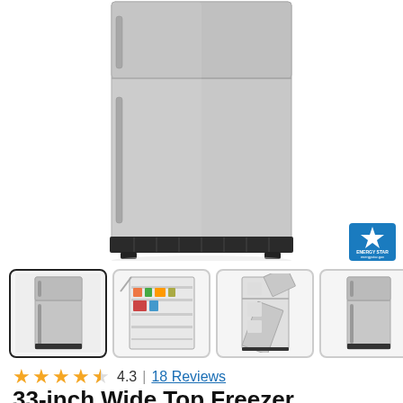[Figure (photo): Front view of a stainless steel top-freezer refrigerator, cropped to show mostly the lower portion of the appliance with black base grille.]
[Figure (photo): ENERGY STAR certification badge, blue with white star and text.]
[Figure (photo): Four thumbnail images of a stainless steel top-freezer refrigerator: closed front view (selected), open interior view, open doors from front, and side/angled closed view. A right navigation arrow button is also present.]
4.3  |  18 Reviews
33-inch Wide Top Freezer